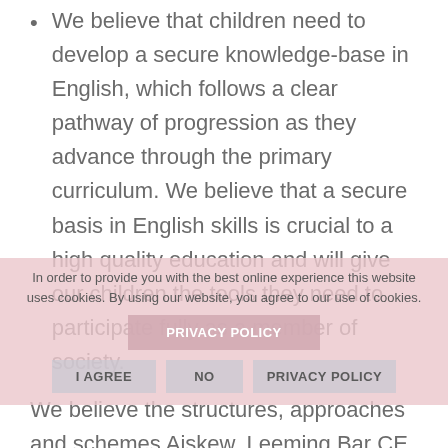We believe that children need to develop a secure knowledge-base in English, which follows a clear pathway of progression as they advance through the primary curriculum. We believe that a secure basis in English skills is crucial to a high quality education and will give our children the tools they need to participate fully as a member of society.
We believe the structures, approaches and schemes Aiskew, Leeming Bar CE Primary School have adopted ensure our aims can be fulfilled.
Implementation
These aims are embedded across our English lessons and the wider curriculum. We have a